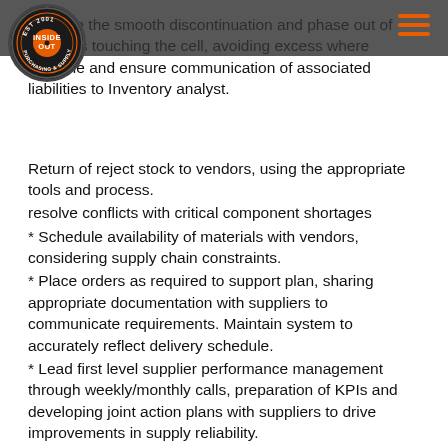[Figure (logo): InsideOut Purchasing & Supply circular logo, EST 2001, orange and black]
Manage the smooth discontinuation and phase out of products touching the cell, avoiding excess where possible and ensure communication of associated liabilities to Inventory analyst.
Return of reject stock to vendors, using the appropriate tools and process.
resolve conflicts with critical component shortages
Schedule availability of materials with vendors, considering supply chain constraints.
Place orders as required to support plan, sharing appropriate documentation with suppliers to communicate requirements. Maintain system to accurately reflect delivery schedule.
Lead first level supplier performance management through weekly/monthly calls, preparation of KPIs and developing joint action plans with suppliers to drive improvements in supply reliability.
Understand and maintain system parameters to optimise MRP.
Investigate and resolve invoice queries as appropriate.
To support planning aspects of initiatives for further integration with strategic suppliers - Global Material Supply Planning programme.
The Person :
Educated to A-level or equivalent.
Relevant degree qualifications are an advantage.
APICS or CIPS professional qualifications are an advantage.